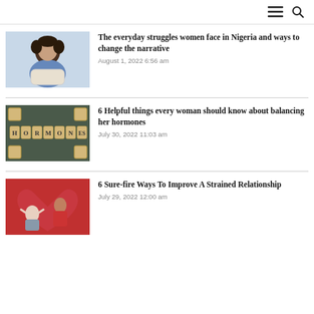[Figure (photo): Woman sitting cross-legged holding a pillow, looking thoughtful]
The everyday struggles women face in Nigeria and ways to change the narrative
August 1, 2022 6:56 am
[Figure (photo): Scrabble tiles spelling HORMONES arranged on a dark background]
6 Helpful things every woman should know about balancing her hormones
July 30, 2022 11:03 am
[Figure (photo): Couple arguing — woman in red standing with arms crossed, man sitting with hands on ears, broken heart background]
6 Sure-fire Ways To Improve A Strained Relationship
July 29, 2022 12:00 am